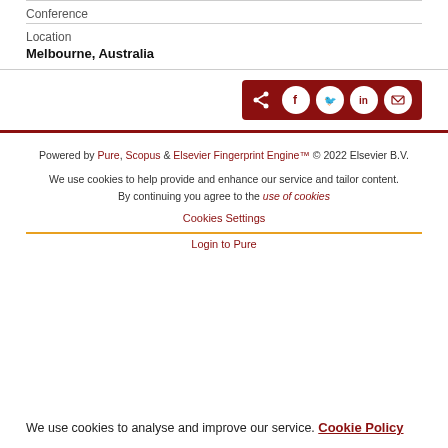Conference
Location
Melbourne, Australia
[Figure (other): Share bar with social media icons: share, Facebook, Twitter, LinkedIn, email on dark red background]
Powered by Pure, Scopus & Elsevier Fingerprint Engine™ © 2022 Elsevier B.V.
We use cookies to help provide and enhance our service and tailor content. By continuing you agree to the use of cookies
Cookies Settings
Login to Pure
We use cookies to analyse and improve our service. Cookie Policy